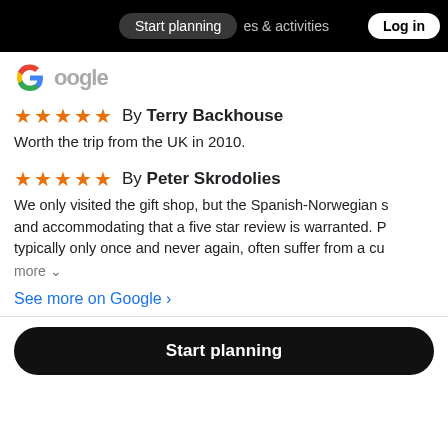Start planning  es & activities  Log in
[Figure (logo): Google logo G icon with partial 'oogle' text]
★★★★★  By Terry Backhouse
Worth the trip from the UK in 2010.
★★★★★  By Peter Skrodolies
We only visited the gift shop, but the Spanish-Norwegian s... and accommodating that a five star review is warranted. P... typically only once and never again, often suffer from a cu... more
See more on Google ›
Start planning